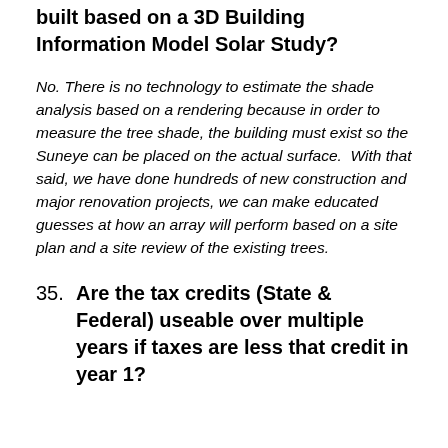building that is being proposed and is not yet built based on a 3D Building Information Model Solar Study?
No. There is no technology to estimate the shade analysis based on a rendering because in order to measure the tree shade, the building must exist so the Suneye can be placed on the actual surface.  With that said, we have done hundreds of new construction and major renovation projects, we can make educated guesses at how an array will perform based on a site plan and a site review of the existing trees.
35. Are the tax credits (State & Federal) useable over multiple years if taxes are less that credit in year 1?